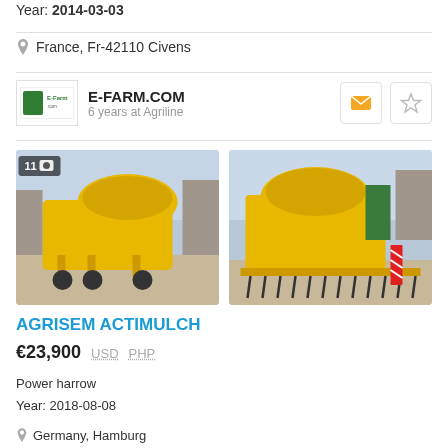Year: 2014-03-03
France, Fr-42110 Civens
E-FARM.COM
6 years at Agriline
[Figure (photo): Yellow Agrisem Actimulch power harrow, front-left view in a yard, photo count badge showing 11]
[Figure (photo): Yellow Agrisem Actimulch power harrow, rear-right view showing tines and safety markings]
AGRISEM ACTIMULCH
€23,900  USD  PHP
Power harrow
Year: 2018-08-08
Germany, Hamburg